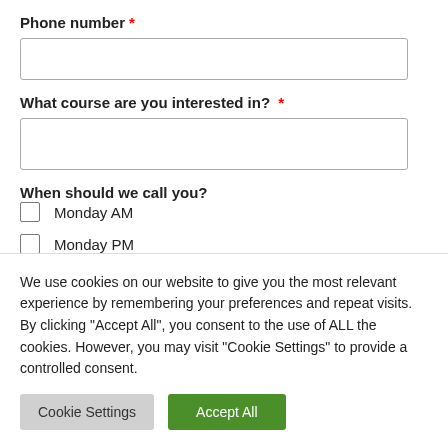Phone number *
What course are you interested in? *
When should we call you?
Monday AM
Monday PM
Tuesday AM (partial)
We use cookies on our website to give you the most relevant experience by remembering your preferences and repeat visits. By clicking "Accept All", you consent to the use of ALL the cookies. However, you may visit "Cookie Settings" to provide a controlled consent.
Cookie Settings | Accept All